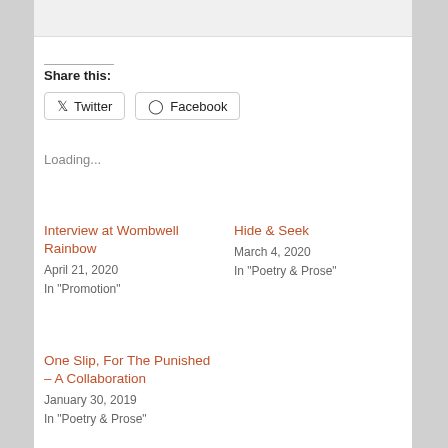Share this:
Twitter Facebook
Loading...
Interview at Wombwell Rainbow
April 21, 2020
In "Promotion"
Hide & Seek
March 4, 2020
In "Poetry & Prose"
One Slip, For The Punished – A Collaboration
January 30, 2019
In "Poetry & Prose"